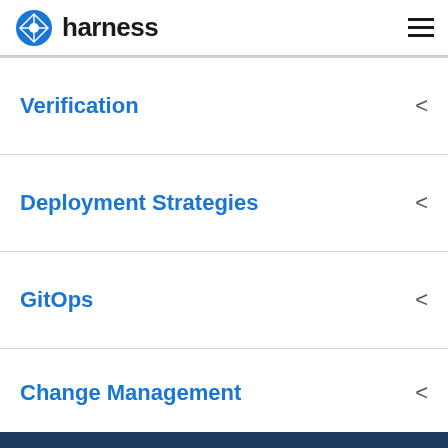harness
Verification
Deployment Strategies
GitOps
Change Management